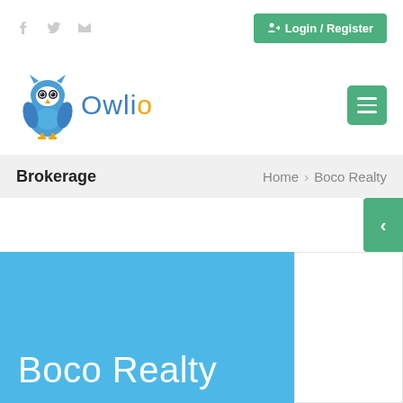f  t  mail  |  Login / Register
[Figure (logo): Owlio owl logo with blue owl and text 'Owlio' in blue with orange dot on the 'i']
Brokerage
Home > Boco Realty
Boco Realty